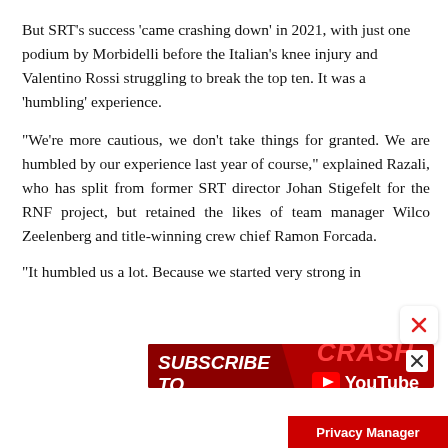But SRT's success 'came crashing down' in 2021, with just one podium by Morbidelli before the Italian's knee injury and Valentino Rossi struggling to break the top ten. It was a 'humbling' experience.
"We're more cautious, we don't take things for granted. We are humbled by our experience last year of course," explained Razali, who has split from former SRT director Johan Stigefelt for the RNF project, but retained the likes of team manager Wilco Zeelenberg and title-winning crew chief Ramon Forcada.
"It humbled us a lot. Because we started very strong in
[Figure (illustration): Advertisement banner for CRASH YouTube channel with red background, 'SUBSCRIBE TO CRASH.NET' text on left and 'CRASH YouTube' logo on right]